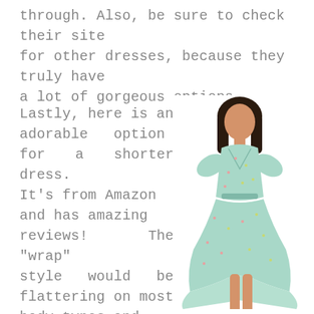through. Also, be sure to check their site for other dresses, because they truly have a lot of gorgeous options.
Lastly, here is an adorable option for a shorter dress. It's from Amazon and has amazing reviews! The "wrap" style would be flattering on most body types and the high-low skirt would add some
[Figure (photo): A woman wearing a light blue floral wrap dress with flutter sleeves, high-low skirt hem, and clear heeled sandals. The dress has small floral print on a pale aqua/mint background.]